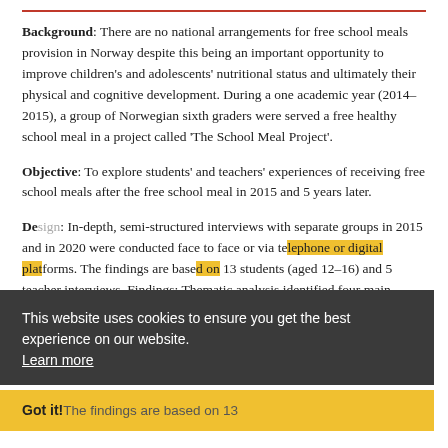Background: There are no national arrangements for free school meals provision in Norway despite this being an important opportunity to improve children's and adolescents' nutritional status and ultimately their physical and cognitive development. During a one academic year (2014–2015), a group of Norwegian sixth graders were served a free healthy school meal in a project called 'The School Meal Project'.
Objective: To explore students' and teachers' experiences of receiving free school meals after the free school meal in 2015 and 5 years later.
Design: In-depth, semi-structured interviews with separate groups in 2015 and in 2020 were conducted face to face or via telephone or digital platforms. The findings are based on 13 students (aged 12–16) and 5 teacher interviews. Findings: Thematic analysis identified four main themes that describe the
This website uses cookies to ensure you get the best experience on our website. Learn more
Got it!